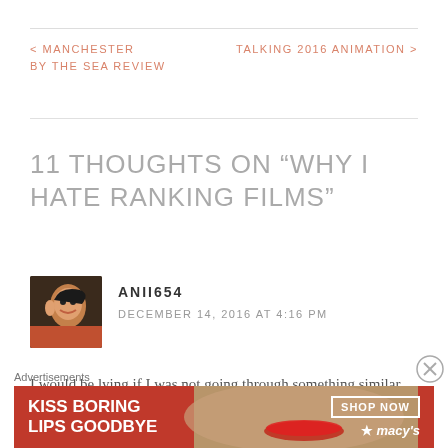< MANCHESTER BY THE SEA REVIEW    TALKING 2016 ANIMATION >
11 THOUGHTS ON “WHY I HATE RANKING FILMS”
ANII654
DECEMBER 14, 2016 AT 4:16 PM
I would be lying if I was not going through something similar myself. It is very challenging to get through, since
[Figure (photo): Advertisement banner for Macy's: 'KISS BORING LIPS GOODBYE' with SHOP NOW button and Macy's logo, featuring a woman's face with red lipstick]